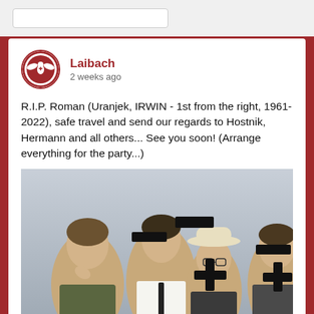Laibach · 2 weeks ago
R.I.P. Roman (Uranjek, IRWIN - 1st from the right, 1961-2022), safe travel and send our regards to Hostnik, Hermann and all others... See you soon! (Arrange everything for the party...)
[Figure (photo): Group photo of four men with black plus and minus symbols overlaid on their faces. The men are dressed in formal attire. The image appears to be from the 1980s or 1990s.]